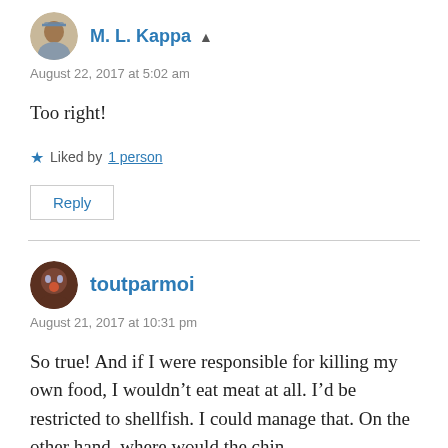M. L. Kappa
August 22, 2017 at 5:02 am
Too right!
Liked by 1 person
Reply
toutparmoi
August 21, 2017 at 10:31 pm
So true! And if I were responsible for killing my own food, I wouldn't eat meat at all. I'd be restricted to shellfish. I could manage that. On the other hand, where would the chicken...